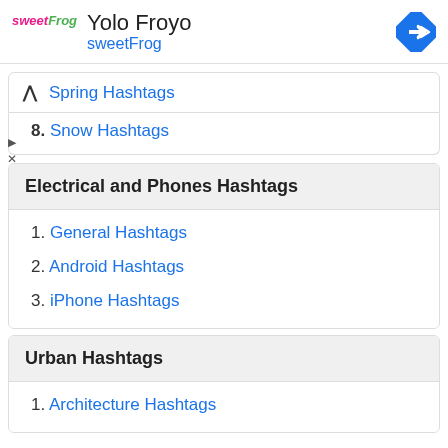[Figure (logo): sweetFrog logo and Yolo Froyo ad banner with navigation icon]
7. Spring Hashtags
8. Snow Hashtags
Electrical and Phones Hashtags
1. General Hashtags
2. Android Hashtags
3. iPhone Hashtags
Urban Hashtags
1. Architecture Hashtags